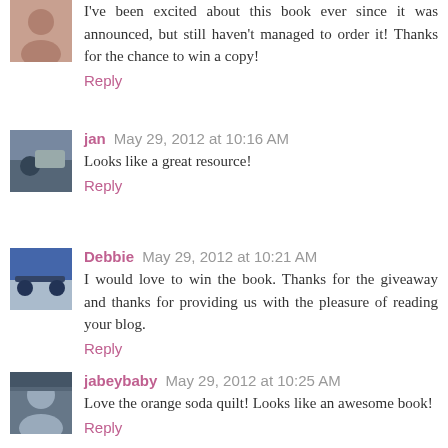I've been excited about this book ever since it was announced, but still haven't managed to order it! Thanks for the chance to win a copy!
Reply
jan  May 29, 2012 at 10:16 AM
Looks like a great resource!
Reply
Debbie  May 29, 2012 at 10:21 AM
I would love to win the book. Thanks for the giveaway and thanks for providing us with the pleasure of reading your blog.
Reply
jabeybaby  May 29, 2012 at 10:25 AM
Love the orange soda quilt! Looks like an awesome book!
Reply